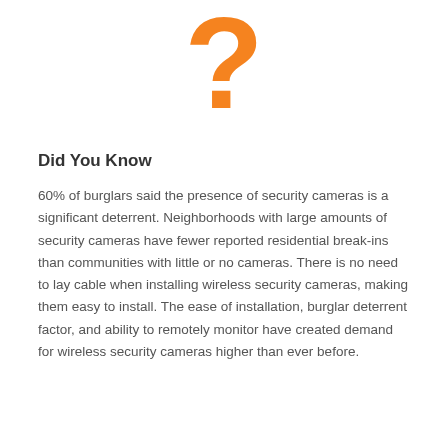[Figure (illustration): Large orange question mark symbol centered at top of page]
Did You Know
60% of burglars said the presence of security cameras is a significant deterrent. Neighborhoods with large amounts of security cameras have fewer reported residential break-ins than communities with little or no cameras. There is no need to lay cable when installing wireless security cameras, making them easy to install. The ease of installation, burglar deterrent factor, and ability to remotely monitor have created demand for wireless security cameras higher than ever before.